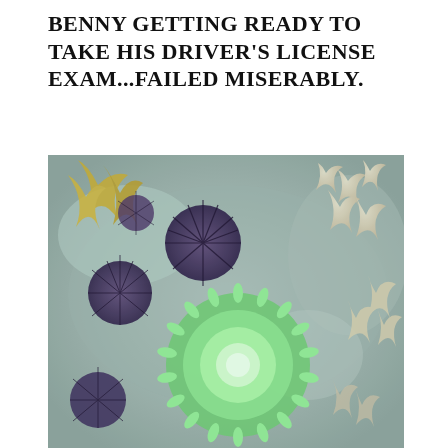BENNY GETTING READY TO TAKE HIS DRIVER'S LICENSE EXAM...FAILED MISERABLY.
[Figure (photo): Overhead photograph of a tidal pool showing a large green sea anemone in the center with open tentacles, surrounded by several purple/dark sea urchins and pale coral or barnacle formations on a rocky substrate.]